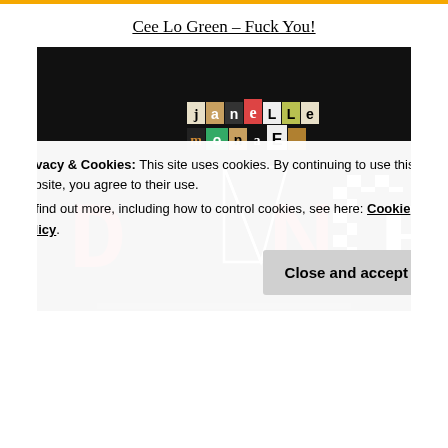Cee Lo Green – Fuck You!
[Figure (photo): Album art showing 'Janelle Monae – Dance' text collage on a dark/black background. Large letters D-A-N-C-E where A is a white triangle/arrow shape, N is red, C has a checkerboard pattern, and E is white serif. Above, 'janelle monae' appears in a ransom-note style collage lettering.]
Privacy & Cookies: This site uses cookies. By continuing to use this website, you agree to their use.
To find out more, including how to control cookies, see here: Cookie Policy
Close and accept